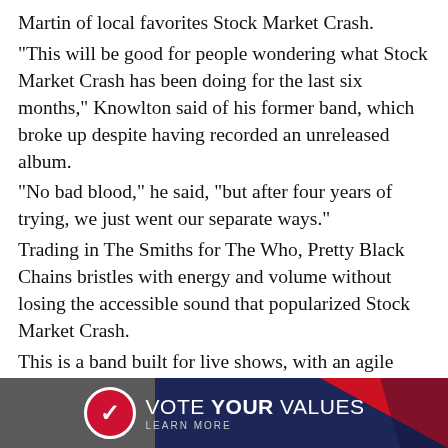Martin of local favorites Stock Market Crash. "This will be good for people wondering what Stock Market Crash has been doing for the last six months," Knowlton said of his former band, which broke up despite having recorded an unreleased album. "No bad blood," he said, "but after four years of trying, we just went our separate ways." Trading in The Smiths for The Who, Pretty Black Chains bristles with energy and volume without losing the accessible sound that popularized Stock Market Crash. This is a band built for live shows, with an agile rock drummer in Kurt Freudenberger and a crooning lead singer, Kellen McGugan, who brims with youthful charisma. Pretty Black Chains formed just a few months ago, but already has amassed an 11-song catalog.
[Figure (other): Banner advertisement reading 'VOTE YOUR VALUES / LEARN MORE' with a red circle checkmark logo on a dark navy and red diagonal background.]